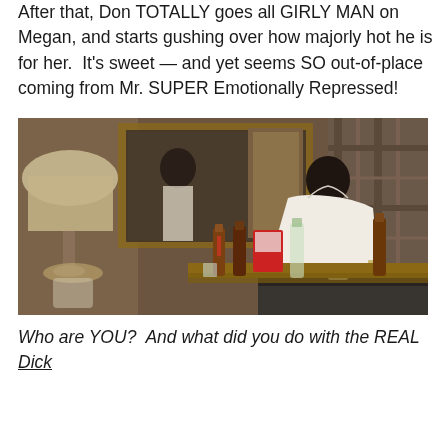After that, Don TOTALLY goes all GIRLY MAN on Megan, and starts gushing over how majorly hot he is for her.  It's sweet — and yet seems SO out-of-place coming from Mr. SUPER Emotionally Repressed!
[Figure (photo): A man in a white dress shirt leaning over a wooden bar or dresser surface covered with beer bottles and liquor bottles, looking at his reflection in a mirror. A lamp with a white shade is visible on the left. The setting appears to be a motel or cabin room.]
Who are YOU?  And what did you do with the REAL Dick